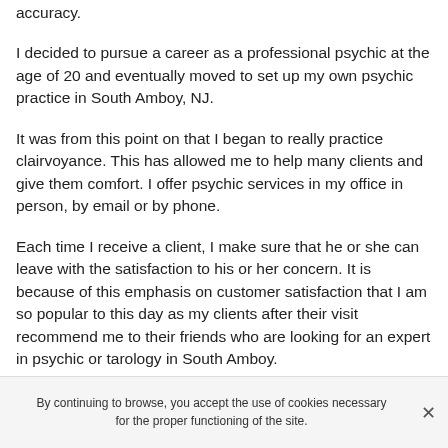accuracy.
I decided to pursue a career as a professional psychic at the age of 20 and eventually moved to set up my own psychic practice in South Amboy, NJ.
It was from this point on that I began to really practice clairvoyance. This has allowed me to help many clients and give them comfort. I offer psychic services in my office in person, by email or by phone.
Each time I receive a client, I make sure that he or she can leave with the satisfaction to his or her concern. It is because of this emphasis on customer satisfaction that I am so popular to this day as my clients after their visit recommend me to their friends who are looking for an expert in psychic or tarology in South Amboy.
By continuing to browse, you accept the use of cookies necessary for the proper functioning of the site.